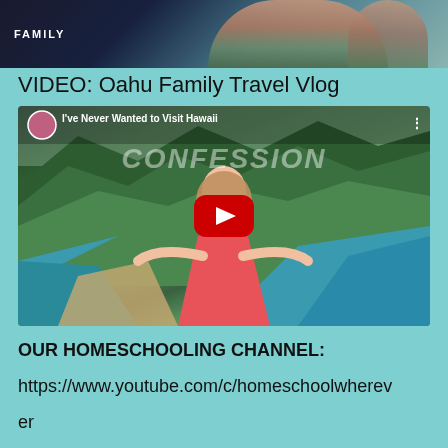[Figure (screenshot): Banner image with text FAMILY and architectural/building imagery in background]
VIDEO: Oahu Family Travel Vlog
[Figure (screenshot): YouTube video thumbnail titled 'I've Never Wanted to Visit Hawaii' with CONFESSION overlaid text, woman in pink floral dress with arms outstretched, aerial Hawaii coastal landscape background, red YouTube play button in center]
OUR HOMESCHOOLING CHANNEL:
https://www.youtube.com/c/homeschoolwherev
er